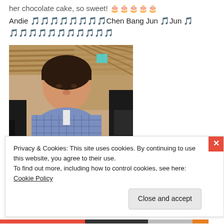her chocolate cake, so sweet! 🎂🎂🎂🎂🎂
Andie 🎵🎵🎵🎵🎵🎵🎵🎵Chen Bang Jun 🎵Jun 🎵
🎵🎵🎵🎵🎵🎵🎵🎵🎵🎵🎵
[Figure (photo): A young Asian man sitting in a restaurant, wearing a blue checkered shirt, leaning forward with a drink in front of him. Wood-slat wall decor visible in the background.]
Privacy & Cookies: This site uses cookies. By continuing to use this website, you agree to their use.
To find out more, including how to control cookies, see here: Cookie Policy
Close and accept